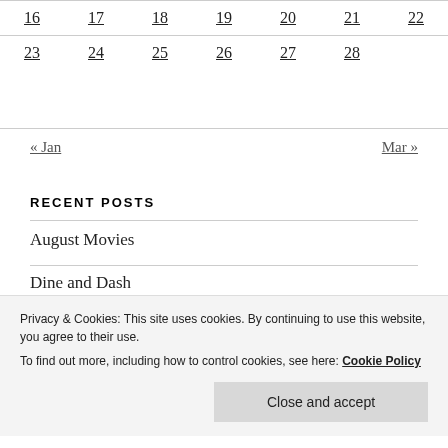| 16 | 17 | 18 | 19 | 20 | 21 | 22 |
| 23 | 24 | 25 | 26 | 27 | 28 |  |
« Jan    Mar »
RECENT POSTS
August Movies
Dine and Dash
Privacy & Cookies: This site uses cookies. By continuing to use this website, you agree to their use.
To find out more, including how to control cookies, see here: Cookie Policy
Close and accept